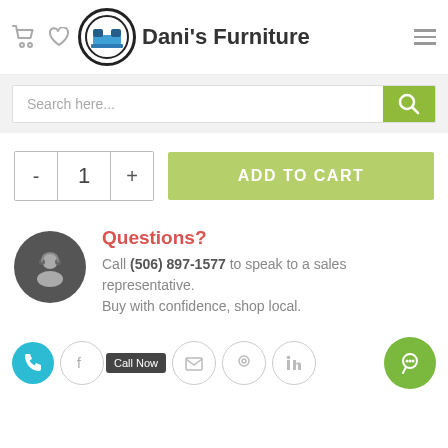Dani's Furniture
Search here...
- 1 + ADD TO CART
Questions? Call (506) 897-1577 to speak to a sales representative. Buy with confidence, shop local.
Call Now